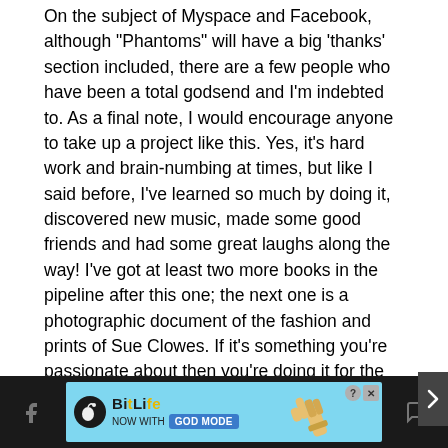On the subject of Myspace and Facebook, although “Phantoms” will have a big ‘thanks’ section included, there are a few people who have been a total godsend and I’m indebted to. As a final note, I would encourage anyone to take up a project like this. Yes, it’s hard work and brain-numbing at times, but like I said before, I’ve learned so much by doing it, discovered new music, made some good friends and had some great laughs along the way! I’ve got at least two more books in the pipeline after this one; the next one is a photographic document of the fashion and prints of Sue Clowes. If it’s something you’re passionate about then you’re doing it for the right reasons.
There is a Facebook profile for “Phantoms: The Rise of
[Figure (other): BitLife advertisement banner: dark background with BitLife logo (circle with sperm icon) and text 'NOW WITH GOD MODE' on blue button, pointing hand illustration, close and help icons. Facebook and chat nav icons on sides.]